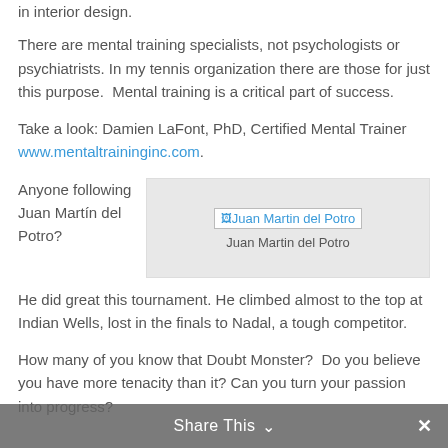in interior design.
There are mental training specialists, not psychologists or psychiatrists. In my tennis organization there are those for just this purpose.  Mental training is a critical part of success.
Take a look: Damien LaFont, PhD, Certified Mental Trainer www.mentaltraininginc.com.
Anyone following Juan Martín del Potro? He did great this tournament. He climbed almost to the top at Indian Wells, lost in the finals to Nadal, a tough competitor.
[Figure (photo): Image placeholder for Juan Martin del Potro with caption 'Juan Martin del Potro']
How many of you know that Doubt Monster?  Do you believe you have more tenacity than it? Can you turn your passion into progress?
Share This ∨  ✕